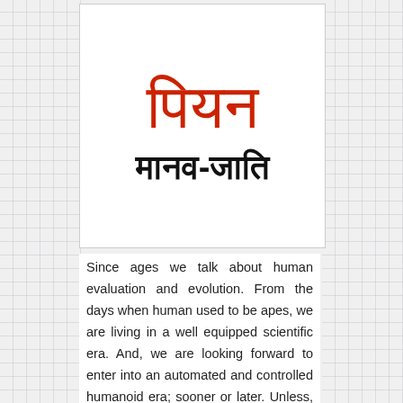[Figure (illustration): Hindi text book cover showing large orange/red Devanagari script 'piya-n' (पियन) at the top and smaller black Devanagari text 'manav-jaati' (मानव-जाति) below it, on a white background with a thin border]
Since ages we talk about human evaluation and evolution. From the days when human used to be apes, we are living in a well equipped scientific era. And, we are looking forward to enter into an automated and controlled humanoid era; sooner or later. Unless, of course, something unexpected happen and